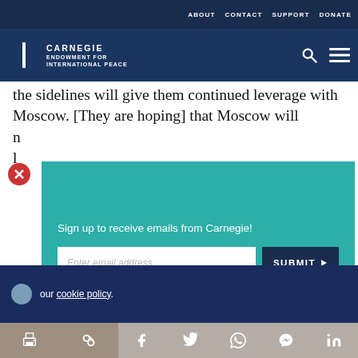ABOUT  CONTACT  SUPPORT  DONATE
[Figure (logo): Carnegie Endowment for International Peace logo with circular icon]
the sidelines will give them continued leverage with Moscow. [They are hoping] that Moscow will n... l... F...
[Figure (screenshot): Email signup popup overlay with teal background. Text: Sign up to receive emails from Carnegie! with email input field and SUBMIT button]
our cookie policy.
[Figure (infographic): Bottom share bar with print, link, facebook, twitter, whatsapp, messenger, linkedin icons]